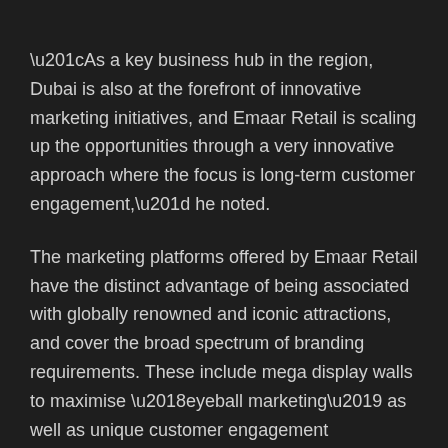“As a key business hub in the region, Dubai is also at the forefront of innovative marketing initiatives, and Emaar Retail is scaling up the opportunities through a very innovative approach where the focus is long-term customer engagement,” he noted.
The marketing platforms offered by Emaar Retail have the distinct advantage of being associated with globally renowned and iconic attractions, and cover the broad spectrum of branding requirements. These include mega display walls to maximise ‘eyeball marketing’ as well as unique customer engagement opportunities.